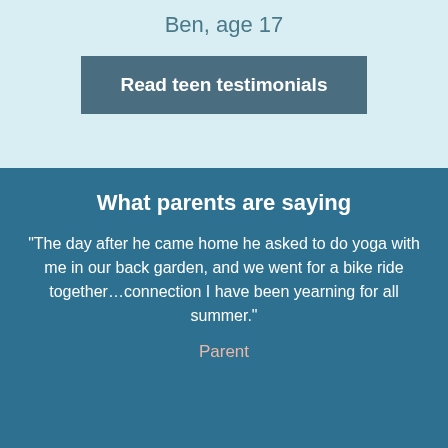Ben, age 17
Read teen testimonials
What parents are saying
“The day after he came home he asked to do yoga with me in our back garden, and we went for a bike ride together…connection I have been yearning for all summer.”
Parent